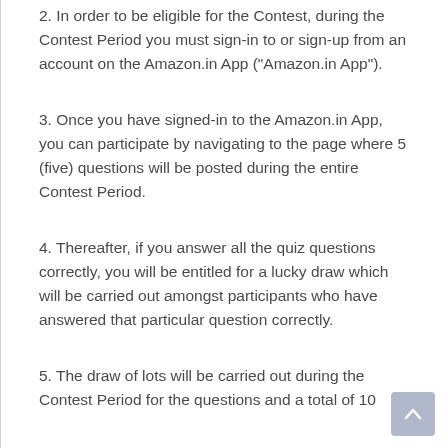2. In order to be eligible for the Contest, during the Contest Period you must sign-in to or sign-up from an account on the Amazon.in App ("Amazon.in App").
3. Once you have signed-in to the Amazon.in App, you can participate by navigating to the page where 5 (five) questions will be posted during the entire Contest Period.
4. Thereafter, if you answer all the quiz questions correctly, you will be entitled for a lucky draw which will be carried out amongst participants who have answered that particular question correctly.
5. The draw of lots will be carried out during the Contest Period for the questions and a total of 10